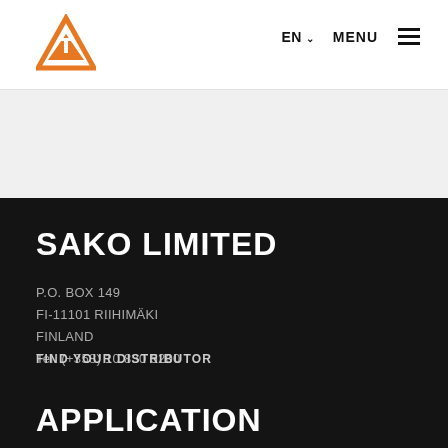[Figure (logo): Sako orange triangular logo with stylized letter T inside]
EN ∨   MENU ≡
SAKO LIMITED
P.O. BOX 149
FI-11101 RIIHIMÄKI
FINLAND
Tel. (+358) 10 830 5200
FIND YOUR DISTRIBUTOR
APPLICATION